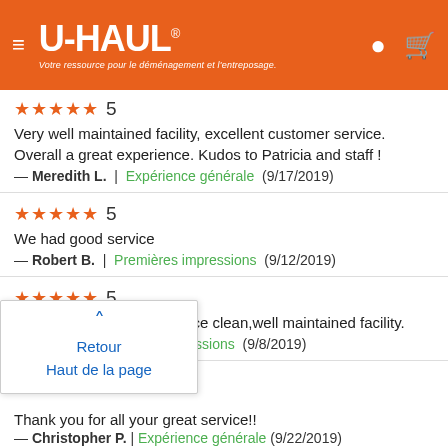[Figure (screenshot): U-Haul website header with orange background, hamburger menu icon, U-Haul logo with tagline 'Votre ressource pour le déménagement et l'entreposage.', and location/cart icons on the right.]
★★★★★ 5
Very well maintained facility, excellent customer service. Overall a great experience. Kudos to Patricia and staff !
— Meredith L. | Expérience générale (9/17/2019)
★★★★★ 5
We had good service
— Robert B. | Premières impressions (9/12/2019)
★★★★★ 5
Very friendly and helpful.Nice clean,well maintained facility.
— jon m. | Premières impressions (9/8/2019)
[Figure (screenshot): Popup overlay with blue upward arrow and blue text 'Retour Haut de la page']
Thank you for all your great service!!
— Christopher P. | Expérience générale (9/22/2019)